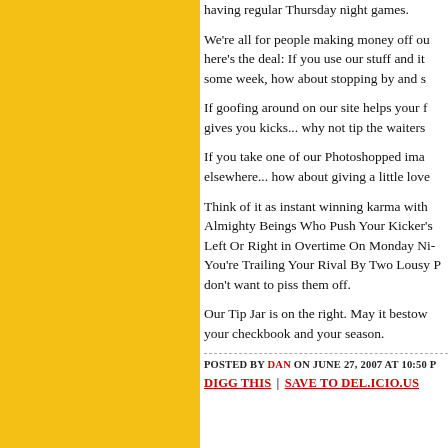having regular Thursday night games.
We're all for people making money off ou here's the deal: If you use our stuff and i some week, how about stopping by and s
If goofing around on our site helps your f gives you kicks... why not tip the waiters
If you take one of our Photoshopped ima elsewhere... how about giving a little love
Think of it as instant winning karma with Almighty Beings Who Push Your Kicker's Left Or Right in Overtime On Monday Ni You're Trailing Your Rival By Two Lousy don't want to piss them off.
Our Tip Jar is on the right. May it bestow your checkbook and your season.
POSTED BY DAN ON JUNE 27, 2007 AT 10:50 P
DIGG THIS | SAVE TO DEL.ICIO.US